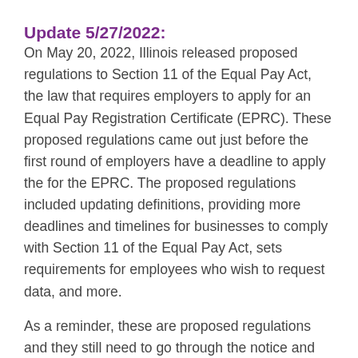Update 5/27/2022:
On May 20, 2022, Illinois released proposed regulations to Section 11 of the Equal Pay Act, the law that requires employers to apply for an Equal Pay Registration Certificate (EPRC). These proposed regulations came out just before the first round of employers have a deadline to apply the for the EPRC. The proposed regulations included updating definitions, providing more deadlines and timelines for businesses to comply with Section 11 of the Equal Pay Act, sets requirements for employees who wish to request data, and more.
As a reminder, these are proposed regulations and they still need to go through the notice and comment period, as well as public hearings and other reviews before they can become finalized. Below are some of the notable proposed